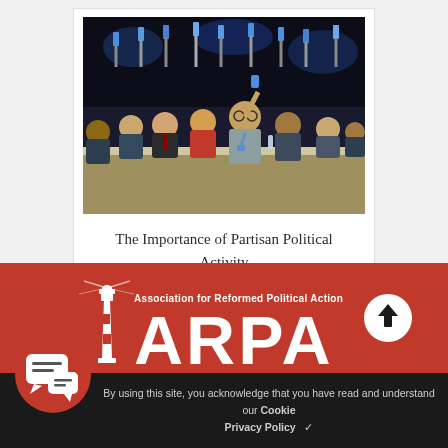[Figure (photo): Crowd of people at a political conference or assembly raising their hands/cards to vote, seated at long tables in a large hall with bright lighting]
The Importance of Partisan Political Activity
[Figure (logo): Association for Reformed Political Action (ARPA) logo with lighthouse icon and large ARPA text in white on red background]
By using this site, you acknowledge that you have read and understand our Cookie Privacy Policy ✓